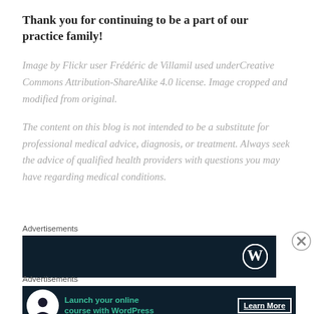Thank you for continuing to be a part of our practice family!
Image by Flickr user Frédéric de Villamil used underCreative Commons Attribution-ShareAlike 4.0 license. Image cropped and modified from original.
The content on this blog is not intended to be a substitute for professional medical advice, diagnosis, or treatment. Always seek the advice of qualified health providers with questions you may have regarding medical conditions.
Advertisements
[Figure (other): Dark advertisement banner with WordPress logo on the right]
Advertisements
[Figure (other): Dark advertisement banner reading 'Launch your online course with WordPress' with a Learn More button]